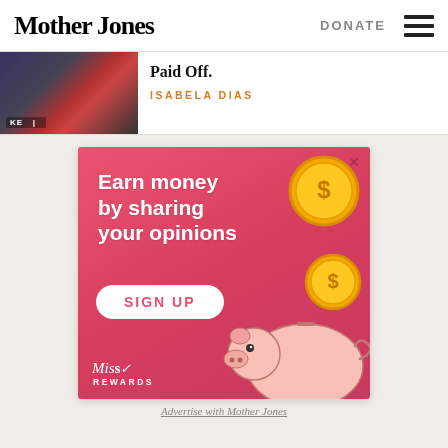Mother Jones | DONATE
[Figure (photo): Thumbnail photo of a crowd/rally scene with people]
Paid Off.
ISABELA DIAS
[Figure (illustration): Advertisement: Earn money by sharing your opinions. SIGN UP. Miss Rewards branding with piggy bank and coins illustration on pink background.]
Advertise with Mother Jones